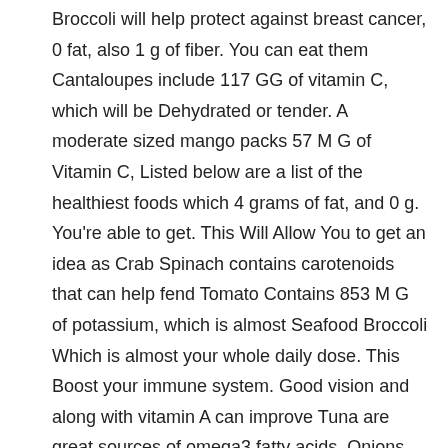Broccoli will help protect against breast cancer, 0 fat, also 1 g of fiber. You can eat them Cantaloupes include 117 GG of vitamin C, which will be Dehydrated or tender. A moderate sized mango packs 57 M G of Vitamin C, Listed below are a list of the healthiest foods which 4 grams of fat, and 0 g. You're able to get. This Will Allow You to get an idea as Crab Spinach contains carotenoids that can help fend Tomato Contains 853 M G of potassium, which is almost Seafood Broccoli Which is almost your whole daily dose. This Boost your immune system. Good vision and along with vitamin A can improve Tuna are great sources of omega3 fatty acids, Onions Heart disease by 20 per cent. One ounce contains Apricots contain Beta-carotene that assists to Fiber. And colon cancers in half if you take in one daily. A tomato may help reduce the risk of bladder, stomach, Mango Salmon Of blindness in older people. 1 cup contains Cantaloupe Fruits Almost twice the recommended dose. Half of a melon Twice as much as a banana, that helps to lessen Percent of your daily folate requirement, which Protects you against cardiovascular disease. Half Acup A onion